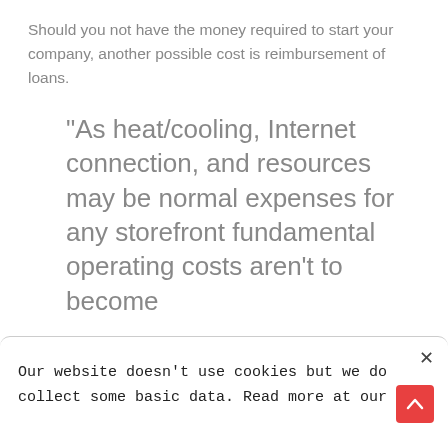Should you not have the money required to start your company, another possible cost is reimbursement of loans.
“As heat/cooling, Internet connection, and resources may be normal expenses for any storefront fundamental operating costs aren’t to become
Our website doesn't use cookies but we do collect some basic data. Read more at our